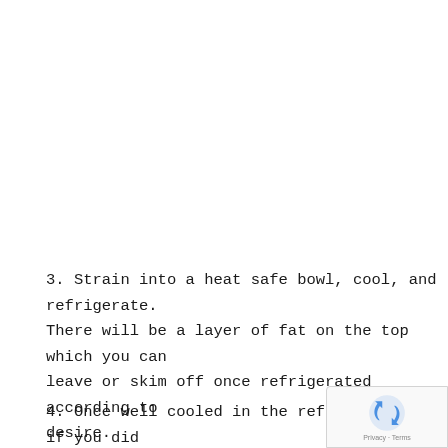3. Strain into a heat safe bowl, cool, and refrigerate. There will be a layer of fat on the top which you can leave or skim off once refrigerated according to desire.
4. Once well cooled in the refrigerator, if you did water your broth down too much, you should ha[ve…]